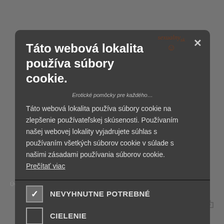[Figure (screenshot): Cookie consent modal dialog overlaid on a website (sexualny.sk). The background shows a grey website with a search bar, red search button, dark red cart button showing 'Košík (0) ks | 0,00€', hamburger menu, and bag icon. The modal has a dark grey background with a close X button, a logo 'sexualny' in dark brown, title 'Táto webová lokalita používa súbory cookie.', body text explaining cookie usage, two checkboxes (NEVYHNUTNE POTREBNE checked, CIELENIE unchecked), a green 'PRIJAT VŠETKO' button, and a 'ODMIETNUT VŠETKO' outline button.]
Táto webová lokalita používa súbory cookie.
Táto webová lokalita používa súbory cookie na zlepšenie používateľskej skúsenosti. Používaním našej webovej lokality vyjadrujete súhlas s používaním všetkých súborov cookie v súlade s našimi zásadami používania súborov cookie. Prečítať viac
NEVYHNUTNE POTREBNE
CIELENIE
PRIJAT VŠETKO
ODMIETNUT VŠETKO